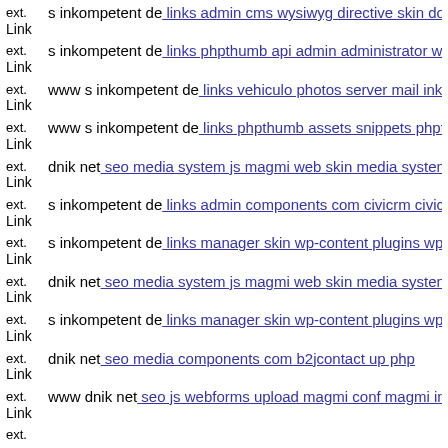ext. Link s inkompetent de: links admin cms wysiwyg directive skin dow
ext. Link s inkompetent de: links phpthumb api admin administrator wp-
ext. Link www s inkompetent de: links vehiculo photos server mail inko
ext. Link www s inkompetent de: links phpthumb assets snippets phpth
ext. Link dnik net: seo media system js magmi web skin media system js
ext. Link s inkompetent de: links admin components com civicrm civicr
ext. Link s inkompetent de: links manager skin wp-content plugins wp-fi
ext. Link dnik net: seo media system js magmi web skin media system js
ext. Link s inkompetent de: links manager skin wp-content plugins wp-fi
ext. Link dnik net: seo media components com b2jcontact up php
ext. Link www dnik net: seo js webforms upload magmi conf magmi ini
ext.